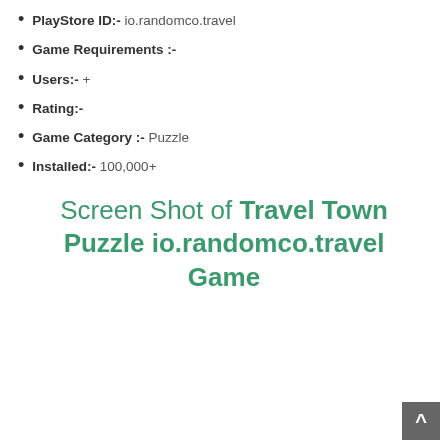PlayStore ID:- io.randomco.travel
Game Requirements :-
Users:- +
Rating:-
Game Category :- Puzzle
Installed:- 100,000+
Screen Shot of Travel Town Puzzle io.randomco.travel Game